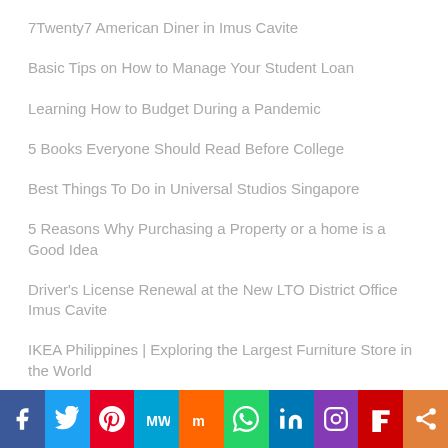7Twenty7 American Diner in Imus Cavite
Basic Tips on How to Manage Your Student Loan
Learning How to Budget During a Pandemic
5 Books Everyone Should Read Before College
Best Things To Do in Universal Studios Singapore
5 Reasons Why Purchasing a Property or a home is a Good Idea
Driver's License Renewal at the New LTO District Office Imus Cavite
IKEA Philippines | Exploring the Largest Furniture Store in the World
[Figure (infographic): Social media sharing buttons bar: Facebook, Twitter, Pinterest, MixedW, Mix, WhatsApp, LinkedIn, Instagram, Flipboard, Share]